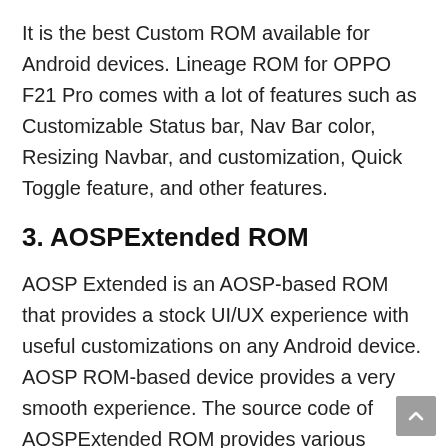It is the best Custom ROM available for Android devices. Lineage ROM for OPPO F21 Pro comes with a lot of features such as Customizable Status bar, Nav Bar color, Resizing Navbar, and customization, Quick Toggle feature, and other features.
3. AOSPExtended ROM
AOSP Extended is an AOSP-based ROM that provides a stock UI/UX experience with useful customizations on any Android device. AOSP ROM-based device provides a very smooth experience. The source code of AOSPExtended ROM provides various cherry-picked commits from multiple other projects. They have promised to bring new features